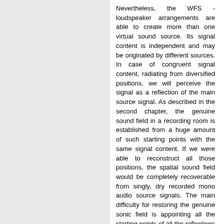Nevertheless, the WFS - loudspeaker arrangements are able to create more than one virtual sound source. Its signal content is independent and may be originated by different sources. In case of congruent signal content, radiating from diversified positions, we will perceive the signal as a reflection of the main source signal. As described in the second chapter, the genuine sound field in a recording room is established from a huge amount of such starting points with the same signal content. If we were able to reconstruct all those positions, the spatial sound field would be completely recoverable from singly, dry recorded mono audio source signals. The main difficulty for restoring the genuine sonic field is appointing all the starting points of all the reflections in the recording room.
3.2.3 The model based approach
Wave Field Synthesis provides two different ways in this matter. The simplest method is the model-based approach. According to the mirror source model, the starting points of the reflections are calculated from the recording room geometry. The calculated distance of each of these virtual sound source positions in regard to each of the loudspeaker positions determines run-times and levels. The wall reflection factors are included into this calculation, as well as the directional radiation pattern of the primary source. However, such a